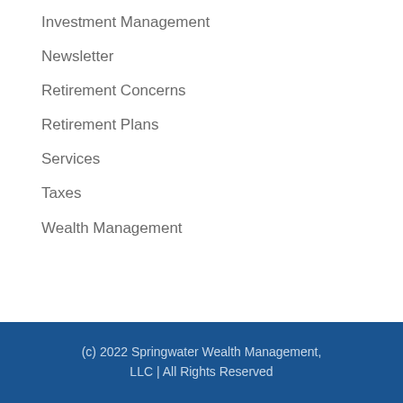Investment Management
Newsletter
Retirement Concerns
Retirement Plans
Services
Taxes
Wealth Management
(c) 2022 Springwater Wealth Management, LLC | All Rights Reserved